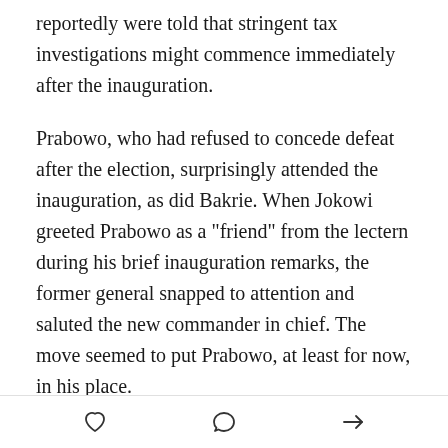reportedly were told that stringent tax investigations might commence immediately after the inauguration.
Prabowo, who had refused to concede defeat after the election, surprisingly attended the inauguration, as did Bakrie. When Jokowi greeted Prabowo as a "friend" from the lectern during his brief inauguration remarks, the former general snapped to attention and saluted the new commander in chief. The move seemed to put Prabowo, at least for now, in his place.
The main streets of central Jakarta were closed to traffic and lined with crowds for the inauguration and in anticipation of a day-long "People's Festival" to celebrate the event. Such a seemingly spontaneous
[heart icon] [comment icon] [share icon]